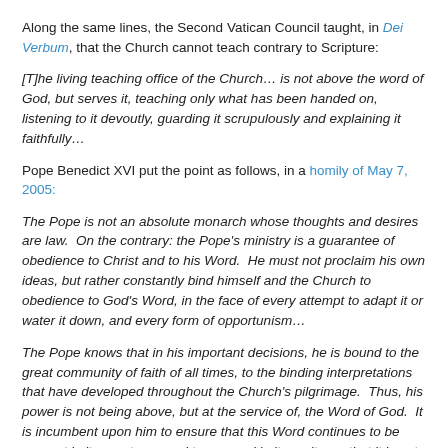Along the same lines, the Second Vatican Council taught, in Dei Verbum, that the Church cannot teach contrary to Scripture:
[T]he living teaching office of the Church… is not above the word of God, but serves it, teaching only what has been handed on, listening to it devoutly, guarding it scrupulously and explaining it faithfully…
Pope Benedict XVI put the point as follows, in a homily of May 7, 2005:
The Pope is not an absolute monarch whose thoughts and desires are law.  On the contrary: the Pope's ministry is a guarantee of obedience to Christ and to his Word.  He must not proclaim his own ideas, but rather constantly bind himself and the Church to obedience to God's Word, in the face of every attempt to adapt it or water it down, and every form of opportunism…
The Pope knows that in his important decisions, he is bound to the great community of faith of all times, to the binding interpretations that have developed throughout the Church's pilgrimage.  Thus, his power is not being above, but at the service of, the Word of God.  It is incumbent upon him to ensure that this Word continues to be present in its greatness and to resound in its purity, so that it is not torn to pieces by continuous…